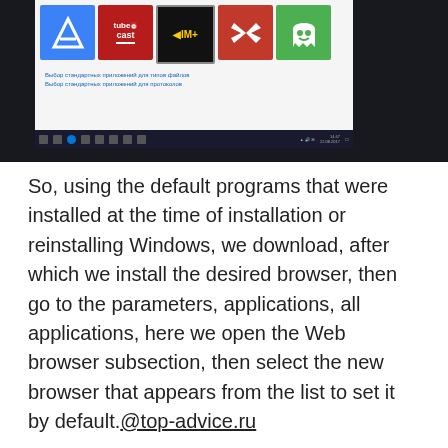[Figure (screenshot): Windows 10 desktop screenshot showing app tiles (Aruba, Tubecast, IM+, Gmail, Ghostery) and taskbar with Russian text links visible]
So, using the default programs that were installed at the time of installation or reinstalling Windows, we download, after which we install the desired browser, then go to the parameters, applications, all applications, here we open the Web browser subsection, then select the new browser that appears from the list to set it by default.@top-advice.ru
Rate article